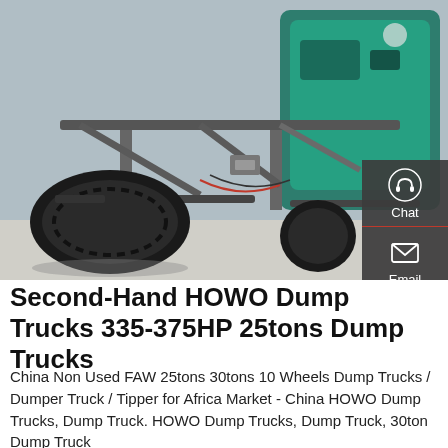[Figure (photo): Undercarriage view of a HOWO dump truck showing tires, axles, suspension components, and teal/green engine block. Photographed from below the vehicle.]
Second-Hand HOWO Dump Trucks 335-375HP 25tons Dump Trucks
China Non Used FAW 25tons 30tons 10 Wheels Dump Trucks / Dumper Truck / Tipper for Africa Market - China HOWO Dump Trucks, Dump Truck. HOWO Dump Trucks, Dump Truck, 30ton Dump Truck